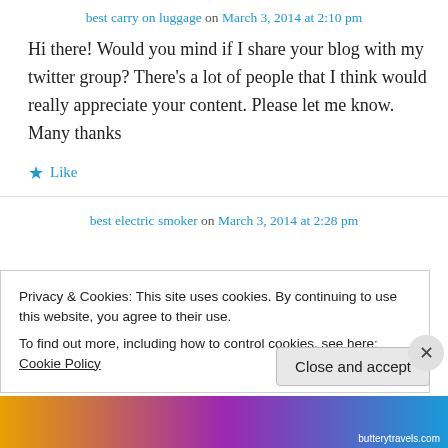best carry on luggage on March 3, 2014 at 2:10 pm
Hi there! Would you mind if I share your blog with my twitter group?
There's a lot of people that I think would really appreciate your content.
Please let me know. Many thanks
★ Like
best electric smoker on March 3, 2014 at 2:28 pm
Privacy & Cookies: This site uses cookies. By continuing to use this website, you agree to their use.
To find out more, including how to control cookies, see here: Cookie Policy
Close and accept